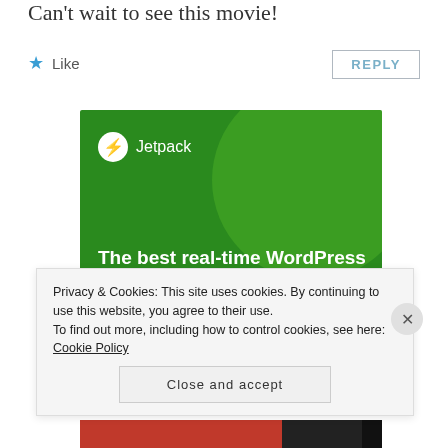Can't wait to see this movie!
★ Like
REPLY
[Figure (advertisement): Jetpack WordPress backup plugin advertisement with green background, circle design, Jetpack logo, and bold white text reading 'The best real-time WordPress backup plugin']
Privacy & Cookies: This site uses cookies. By continuing to use this website, you agree to their use.
To find out more, including how to control cookies, see here: Cookie Policy
Close and accept